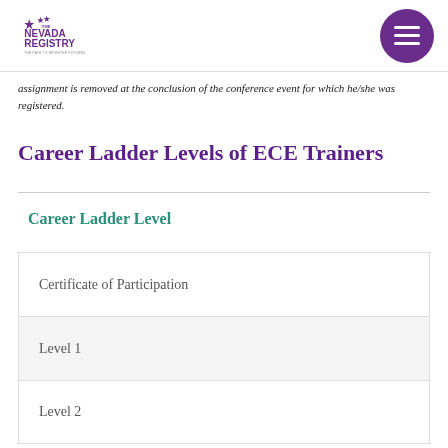The Nevada Registry — The Path to Brighter Futures
assignment is removed at the conclusion of the conference event for which he/she was registered.
Career Ladder Levels of ECE Trainers
Career Ladder Level
| Career Ladder Level |
| --- |
| Certificate of Participation |
| Level 1 |
| Level 2 |